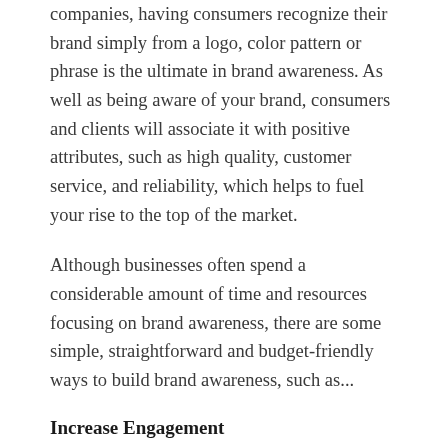companies, having consumers recognize their brand simply from a logo, color pattern or phrase is the ultimate in brand awareness. As well as being aware of your brand, consumers and clients will associate it with positive attributes, such as high quality, customer service, and reliability, which helps to fuel your rise to the top of the market.
Although businesses often spend a considerable amount of time and resources focusing on brand awareness, there are some simple, straightforward and budget-friendly ways to build brand awareness, such as...
Increase Engagement
By getting your target demographic to engage with your company, they are more exposed to your